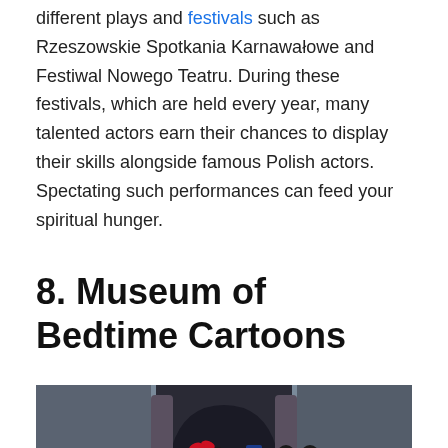different plays and festivals such as Rzeszowskie Spotkania Karnawałowe and Festiwal Nowego Teatru. During these festivals, which are held every year, many talented actors earn their chances to display their skills alongside famous Polish actors. Spectating such performances can feed your spiritual hunger.
8. Museum of Bedtime Cartoons
[Figure (photo): Photo of LEGO Disney character figurines (Daisy Duck, Minnie Mouse, Donald Duck, Mickey Mouse) in front of a castle-like LEGO backdrop with golden lamp posts.]